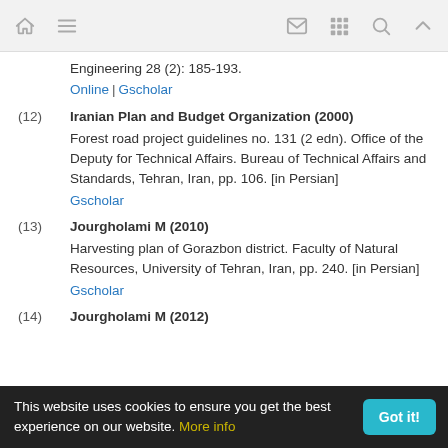Navigation bar with home, menu, mail, grid, search, and up icons
Engineering 28 (2): 185-193.
Online | Gscholar
(12) Iranian Plan and Budget Organization (2000)
Forest road project guidelines no. 131 (2 edn). Office of the Deputy for Technical Affairs. Bureau of Technical Affairs and Standards, Tehran, Iran, pp. 106. [in Persian]
Gscholar
(13) Jourgholami M (2010)
Harvesting plan of Gorazbon district. Faculty of Natural Resources, University of Tehran, Iran, pp. 240. [in Persian]
Gscholar
(14) Jourgholami M (2012)
This website uses cookies to ensure you get the best experience on our website. More info  Got it!